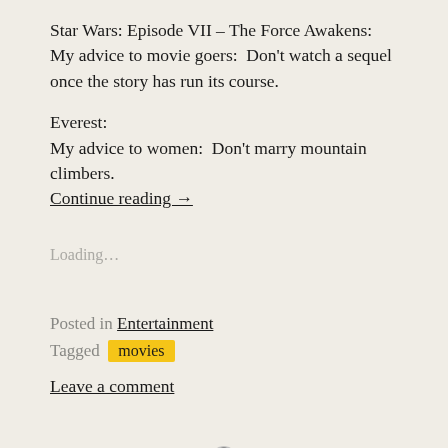Star Wars: Episode VII – The Force Awakens: My advice to movie goers:  Don't watch a sequel once the story has run its course.
Everest:
My advice to women:  Don't marry mountain climbers.
Continue reading →
Loading...
Posted in Entertainment
Tagged movies
Leave a comment
Search
Search